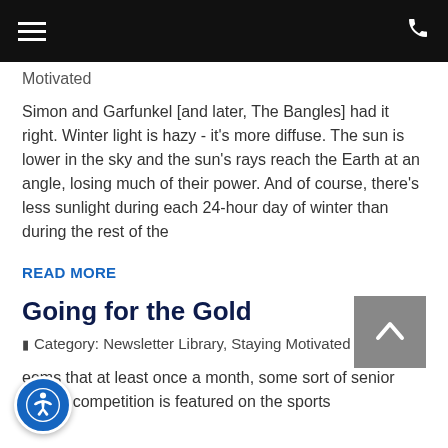Navigation menu and phone icon
Motivated
Simon and Garfunkel [and later, The Bangles] had it right. Winter light is hazy - it's more diffuse. The sun is lower in the sky and the sun's rays reach the Earth at an angle, losing much of their power. And of course, there's less sunlight during each 24-hour day of winter than during the rest of the
READ MORE
Going for the Gold
Category: Newsletter Library, Staying Motivated
eems that at least once a month, some sort of senior fitness competition is featured on the sports